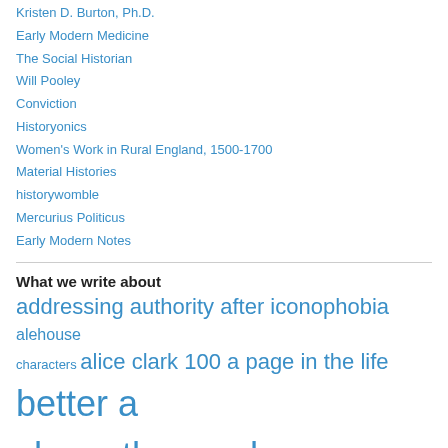Kristen D. Burton, Ph.D.
Early Modern Medicine
The Social Historian
Will Pooley
Conviction
Historyonics
Women's Work in Rural England, 1500-1700
Material Histories
historywomble
Mercurius Politicus
Early Modern Notes
What we write about
addressing authority after iconophobia alehouse characters alice clark 100 a page in the life better a shrew than a sheep classy history creative